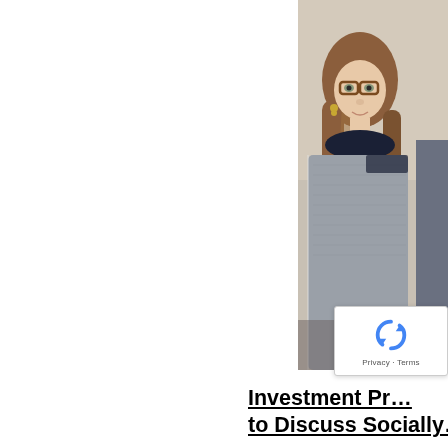[Figure (photo): Photograph of a woman with long auburn hair wearing glasses and a grey tweed jacket with a dark scarf, cropped on the right side of the page. Another person is partially visible to the right.]
Investment Pr… to Discuss Socially…